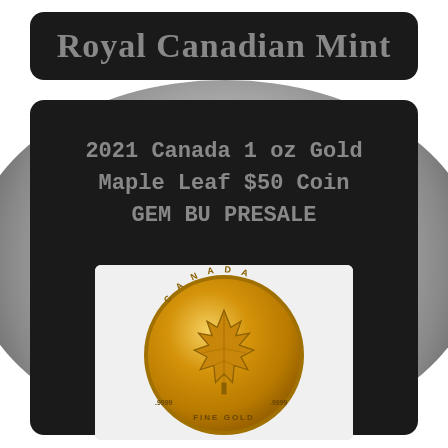Royal Canadian Mint
2021 Canada 1 oz Gold Maple Leaf $50 Coin GEM BU PRESALE
[Figure (photo): Gold Canadian Maple Leaf coin showing maple leaf design with CANADA text, .9999 FINE GOLD markings, against a light background. The coin is displayed inside a white box on a dark panel, with a large silver coin visible in the background behind the dark panels.]